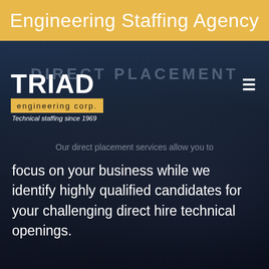Engineering Staffing Agency
[Figure (screenshot): Triad Engineering Corp website screenshot showing direct placement page with dark industrial background (robotic arm machinery), Triad Engineering Corp logo with yellow banner, hamburger menu icon, 'DIRECT PLACEMENT' watermark text, and body text about direct placement services.]
DIRECT PLACEMENT
Our direct placement services allow you to focus on your business while we identify highly qualified candidates for your challenging direct hire technical openings.